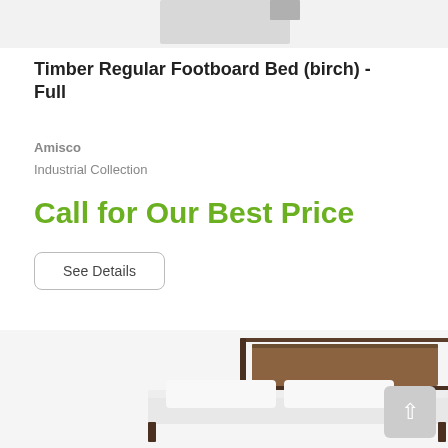[Figure (photo): Partial view of a bed frame product photo, cropped at the top of the page showing the upper portion of a metal/wood bed frame]
Timber Regular Footboard Bed (birch) - Full
Amisco
Industrial Collection
Call for Our Best Price
See Details
[Figure (photo): Lower portion of a bed product photo showing a wooden and metal platform bed frame with white bedding, photographed at an angle. A scroll-to-top button is visible in the bottom-right corner.]